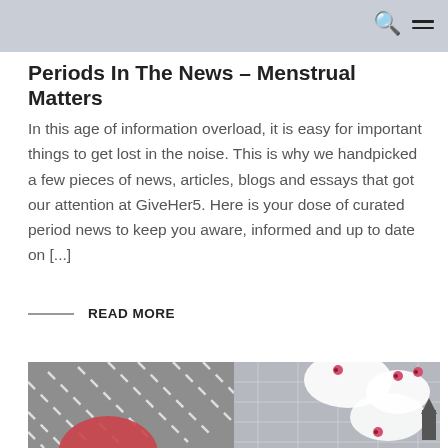Periods In The News – Menstrual Matters
In this age of information overload, it is easy for important things to get lost in the noise. This is why we handpicked a few pieces of news, articles, blogs and essays that got our attention at GiveHer5. Here is your dose of curated period news to keep you aware, informed and up to date on [...]
READ MORE
[Figure (illustration): Illustrated image split into two panels: left panel shows a dark grey background with diagonal white dashed lines and a pink/red circular shape at the bottom; right panel shows a lighter grey background with white organic shapes and small pink floral/dot elements, plus a scroll-up arrow on the right edge.]